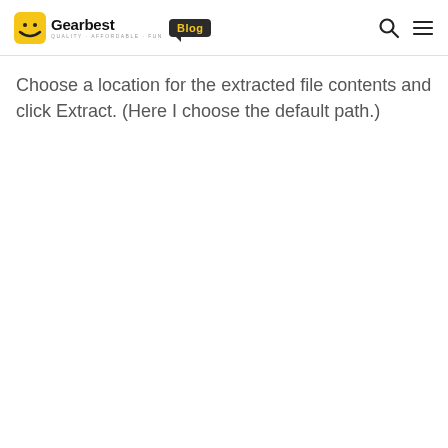Gearbest Blog - Quality · Affordable · Fun
Choose a location for the extracted file contents and click Extract. (Here I choose the default path.)